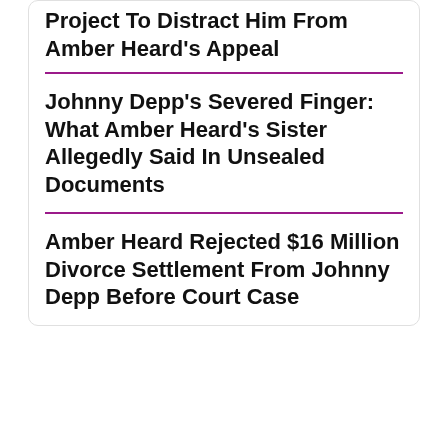Project To Distract Him From Amber Heard's Appeal
Johnny Depp's Severed Finger: What Amber Heard's Sister Allegedly Said In Unsealed Documents
Amber Heard Rejected $16 Million Divorce Settlement From Johnny Depp Before Court Case